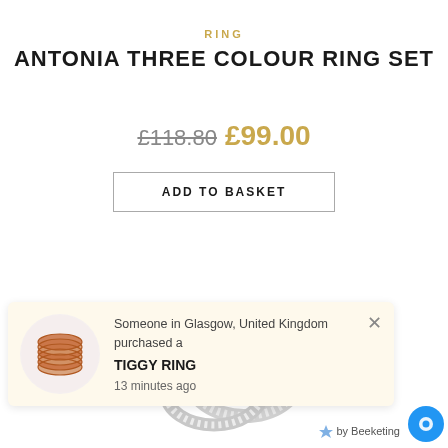RING
ANTONIA THREE COLOUR RING SET
£118.80 £99.00
ADD TO BASKET
[Figure (photo): Partial view of a silver/crystal ring set at the bottom of the page]
Someone in Glasgow, United Kingdom purchased a TIGGY RING 13 minutes ago
by Beeketing